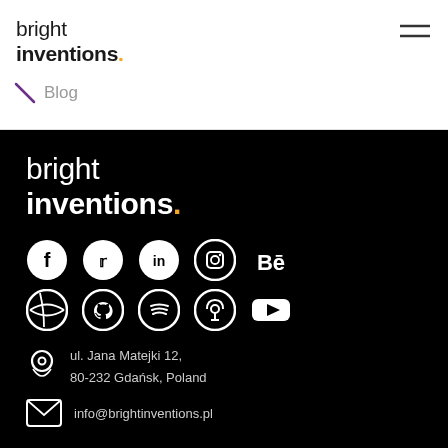bright inventions. Blog
[Figure (logo): Bright Inventions logo in footer on black background]
[Figure (infographic): Social media icons row 1: Facebook, Twitter, LinkedIn, Instagram, Behance]
[Figure (infographic): Social media icons row 2: Dribbble, GitHub, Spotify, Podcast, YouTube]
ul. Jana Matejki 12, 80-232 Gdańsk, Poland
info@brightinventions.pl